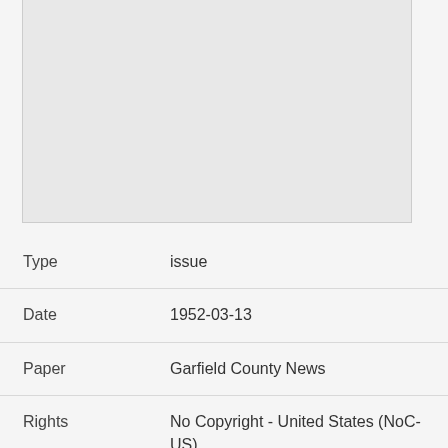[Figure (other): Gray placeholder image area representing a newspaper page thumbnail]
| Type | issue |
| Date | 1952-03-13 |
| Paper | Garfield County News |
| Rights | No Copyright - United States (NoC-US) |
| Rights Holder | Tropic Town, Tropic, Utah |